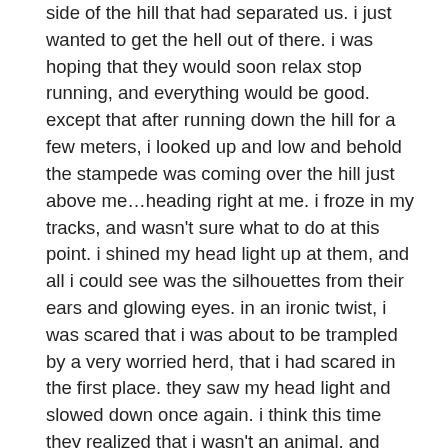side of the hill that had separated us. i just wanted to get the hell out of there. i was hoping that they would soon relax stop running, and everything would be good. except that after running down the hill for a few meters, i looked up and low and behold the stampede was coming over the hill just above me…heading right at me. i froze in my tracks, and wasn't sure what to do at this point. i shined my head light up at them, and all i could see was the silhouettes from their ears and glowing eyes. in an ironic twist, i was scared that i was about to be trampled by a very worried herd, that i had scared in the first place. they saw my head light and slowed down once again. i think this time they realized that i wasn't an animal, and they were in fact chasing me now. not something they wanted to do i guess. they slowed down and turned away from me, till they came to a stop.
i kept running however. i didn't stop. i got to the fence, found a place to hope over. almost ripped my clothes this